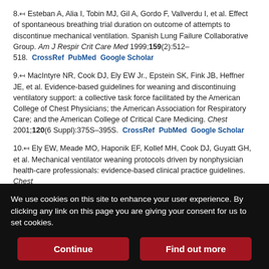8.↤ Esteban A, Alia I, Tobin MJ, Gil A, Gordo F, Vallverdu I, et al. Effect of spontaneous breathing trial duration on outcome of attempts to discontinue mechanical ventilation. Spanish Lung Failure Collaborative Group. Am J Respir Crit Care Med 1999;159(2):512–518.  CrossRef PubMed Google Scholar
9.↤ MacIntyre NR, Cook DJ, Ely EW Jr., Epstein SK, Fink JB, Heffner JE, et al. Evidence-based guidelines for weaning and discontinuing ventilatory support: a collective task force facilitated by the American College of Chest Physicians; the American Association for Respiratory Care; and the American College of Critical Care Medicing. Chest 2001;120(6 Suppl):375S–395S.  CrossRef PubMed Google Scholar
10.↤ Ely EW, Meade MO, Haponik EF, Kollef MH, Cook DJ, Guyatt GH, et al. Mechanical ventilator weaning protocols driven by nonphysician health-care professionals: evidence-based clinical practice guidelines. Chest
We use cookies on this site to enhance your user experience. By clicking any link on this page you are giving your consent for us to set cookies.